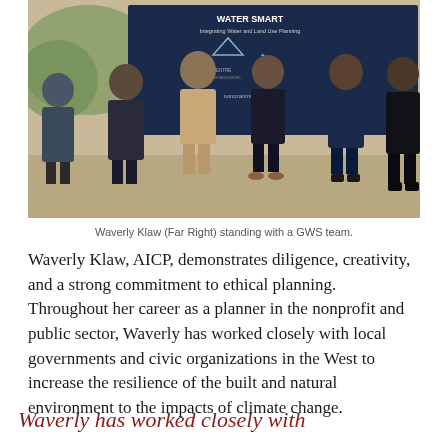[Figure (photo): Group of people standing in front of a banner reading 'WATER SMART – Integrating Water and Land Use Planning' with logos for Harrit Centre and Sonoran Institute, and sonoraninstitute.org. Waverly Klaw is standing at far right.]
Waverly Klaw (Far Right) standing with a GWS team.
Waverly Klaw, AICP, demonstrates diligence, creativity, and a strong commitment to ethical planning. Throughout her career as a planner in the nonprofit and public sector, Waverly has worked closely with local governments and civic organizations in the West to increase the resilience of the built and natural environment to the impacts of climate change.
Waverly has worked closely with